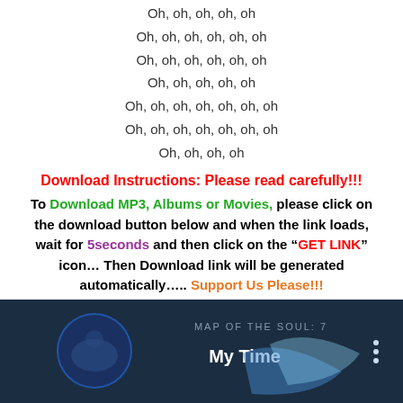Oh, oh, oh, oh, oh
Oh, oh, oh, oh, oh, oh
Oh, oh, oh, oh, oh, oh
Oh, oh, oh, oh, oh
Oh, oh, oh, oh, oh, oh, oh
Oh, oh, oh, oh, oh, oh, oh
Oh, oh, oh, oh
Download Instructions: Please read carefully!!!
To Download MP3, Albums or Movies, please click on the download button below and when the link loads, wait for 5seconds and then click on the “GET LINK” icon… Then Download link will be generated automatically….. Support Us Please!!!
[Figure (screenshot): Music player UI showing album art, MAP OF THE SOUL: 7 label, My Time song title, and a three-dot menu icon on a dark blue background.]